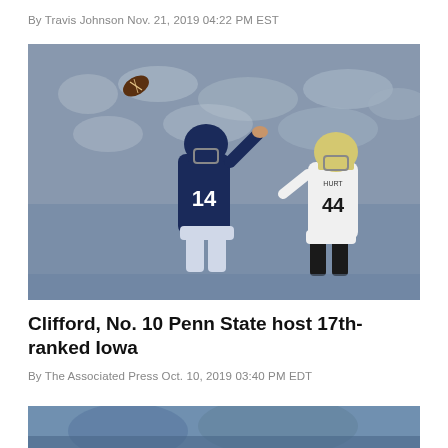By Travis Johnson Nov. 21, 2019 04:22 PM EST
[Figure (photo): Penn State quarterback #14 in navy uniform throwing a pass with arm extended, defender #44 in white and gold uniform rushing, crowd of fans visible in background]
Clifford, No. 10 Penn State host 17th-ranked Iowa
By The Associated Press Oct. 10, 2019 03:40 PM EDT
[Figure (photo): Partial view of another football game photo cropped at bottom of page]